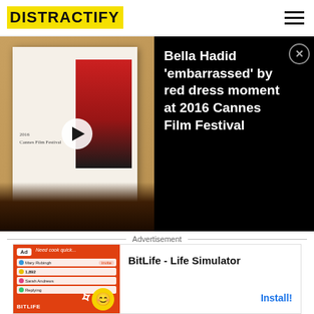DISTRACTIFY
[Figure (screenshot): Video thumbnail showing a book open to a 2016 Cannes Film Festival page with a red dress photo, with hands holding the book and a play button overlay]
Bella Hadid 'embarrassed' by red dress moment at 2016 Cannes Film Festival
Advertisement
[Figure (screenshot): BitLife - Life Simulator app advertisement with game UI elements and BitLife logo on orange/red background]